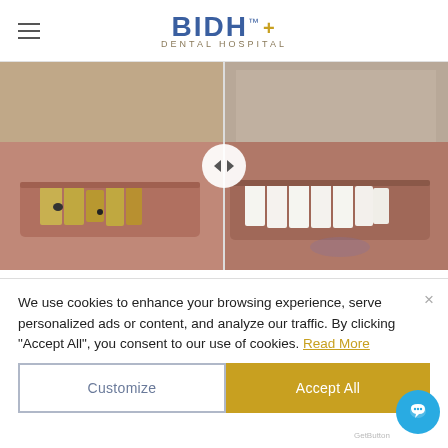BIDH™ DENTAL HOSPITAL
[Figure (photo): Before and after dental treatment comparison photo: left side shows damaged, yellowed teeth with decay; right side shows bright white restored teeth after treatment. A circular slider control is visible in the center of the image.]
We use cookies to enhance your browsing experience, serve personalized ads or content, and analyze our traffic. By clicking "Accept All", you consent to our use of cookies. Read More